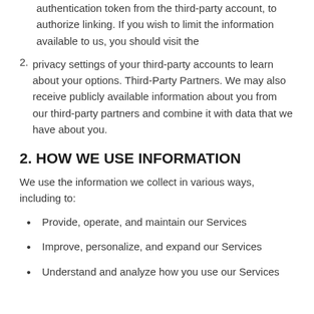authentication token from the third-party account, to authorize linking. If you wish to limit the information available to us, you should visit the
privacy settings of your third-party accounts to learn about your options. Third-Party Partners. We may also receive publicly available information about you from our third-party partners and combine it with data that we have about you.
2. HOW WE USE INFORMATION
We use the information we collect in various ways, including to:
Provide, operate, and maintain our Services
Improve, personalize, and expand our Services
Understand and analyze how you use our Services